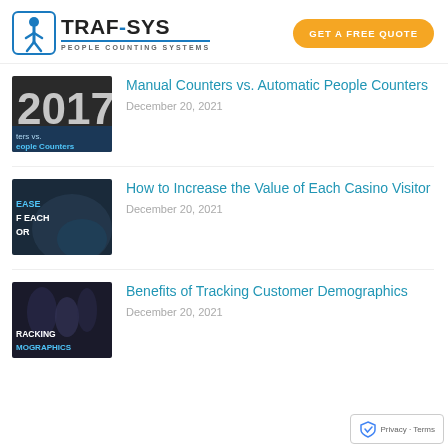TRAF-SYS PEOPLE COUNTING SYSTEMS
GET A FREE QUOTE
[Figure (screenshot): Thumbnail image showing numbers '2017' with text overlay 'ters vs. eople Counters' on dark background]
Manual Counters vs. Automatic People Counters
December 20, 2021
[Figure (screenshot): Thumbnail image with dark background showing partial text 'EASE', 'F EACH', 'OR' referencing casino visitor content]
How to Increase the Value of Each Casino Visitor
December 20, 2021
[Figure (screenshot): Thumbnail image showing people walking with text overlay 'TRACKING MOGRAPHICS' on dark background]
Benefits of Tracking Customer Demographics
December 20, 2021